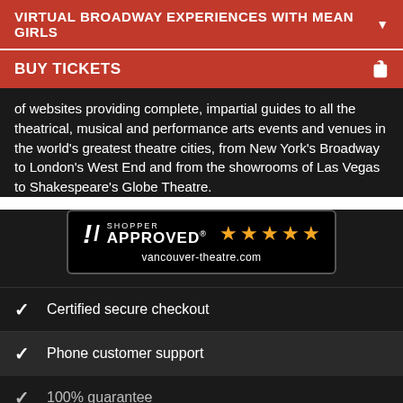VIRTUAL BROADWAY EXPERIENCES WITH MEAN GIRLS
BUY TICKETS
of websites providing complete, impartial guides to all the theatrical, musical and performance arts events and venues in the world's greatest theatre cities, from New York's Broadway to London's West End and from the showrooms of Las Vegas to Shakespeare's Globe Theatre.
[Figure (logo): Shopper Approved badge with 5 orange stars and vancouver-theatre.com URL]
Certified secure checkout
Phone customer support
100% guarantee
You know the drill, websites need cookies to make them work. Details of how we do it here.